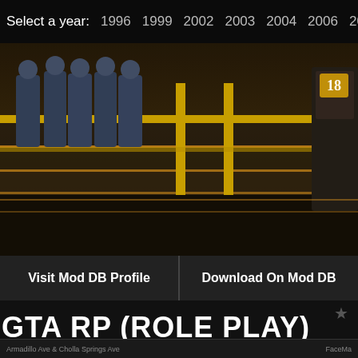Select a year: 1996 1999 2002 2003 2004 2006 20
[Figure (screenshot): Game screenshot showing armored characters standing on illuminated steps with yellow railings, one character wearing number 18 badge visible on right side]
Visit Mod DB Profile
Download On Mod DB
GTA RP (ROLE PLAY)
Armadillo Ave & Cholla Springs Ave